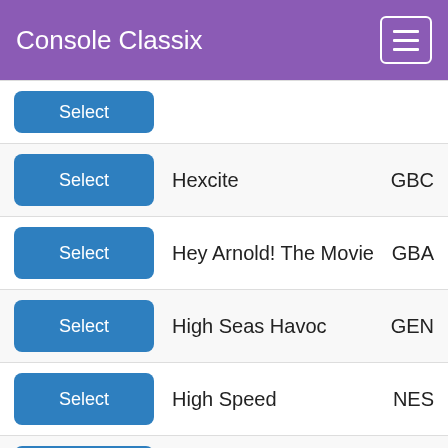Console Classix
Select | [partial row] | GBA
Select | Hexcite | GBC
Select | Hey Arnold! The Movie | GBA
Select | High Seas Havoc | GEN
Select | High Speed | NES
Select | High Stakes Gambling | GB
Select | Hit the Ice | SNES
Select | Hit the Ice | GEN
Select | Hobbit, The | GBA